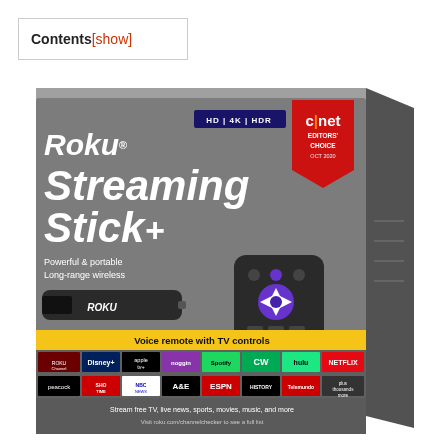Contents [show]
[Figure (photo): Roku Streaming Stick+ product box. Gray box showing Roku Streaming Stick+ branding, HD/4K/HDR badge, CNET Editors Choice award (Oct 2020), streaming stick device and voice remote. Yellow banner reading 'Voice remote with TV controls'. App logos including Roku Channel, Disney+, Apple TV, Peacock, Showtime, NBC News, A&E, ESPN, History Channel, Spotify, CW, Hulu, Netflix, Telemundo, and more. Bottom text: Stream free TV, live news, sports, movies, music, and more. Visit roku.com/channelchecker to see a full list.]